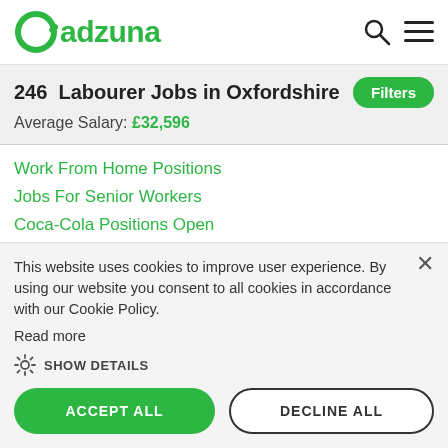adzuna
246  Labourer Jobs in Oxfordshire
Average Salary: £32,596
Work From Home Positions
Jobs For Senior Workers
Coca-Cola Positions Open
Goodwill Stores Hiring
Hiring Overseas Employees - Great Britain Jobs
This website uses cookies to improve user experience. By using our website you consent to all cookies in accordance with our Cookie Policy. Read more
SHOW DETAILS
ACCEPT ALL
DECLINE ALL